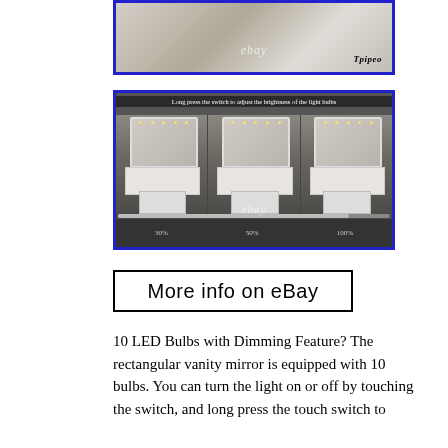[Figure (photo): Photo of a white vanity/dressing table set in a bedroom, with eBay watermark and 'Tripeo' text, bordered in blue]
[Figure (photo): Three-panel photo showing a vanity mirror with LED bulbs at 30%, 50%, and 100% brightness, with text 'Long press the switch to adjust the brightness of the light bulbs', eBay watermark, and a progress/dimmer slider bar]
More info on eBay
10 LED Bulbs with Dimming Feature? The rectangular vanity mirror is equipped with 10 bulbs. You can turn the light on or off by touching the switch, and long press the touch switch to